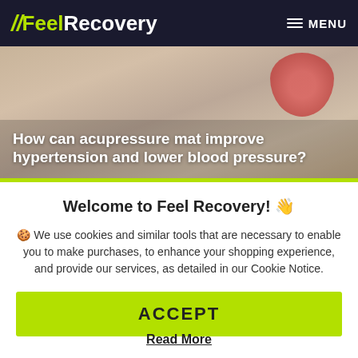FeelRecovery — MENU
[Figure (photo): Hero banner photo showing hands holding a red heart shape, with warm blurred background. Text overlay reads: How can acupressure mat improve hypertension and lower blood pressure?]
How can acupressure mat improve hypertension and lower blood pressure?
Welcome to Feel Recovery! 👋
🍪 We use cookies and similar tools that are necessary to enable you to make purchases, to enhance your shopping experience, and provide our services, as detailed in our Cookie Notice.
ACCEPT
Read More